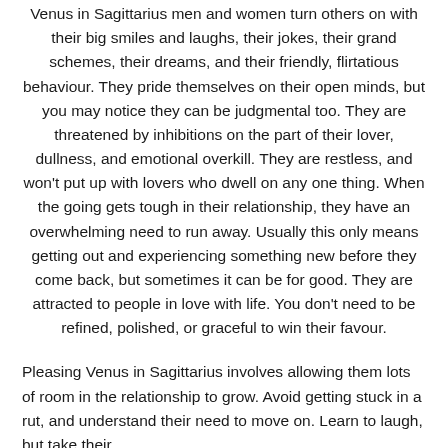Venus in Sagittarius men and women turn others on with their big smiles and laughs, their jokes, their grand schemes, their dreams, and their friendly, flirtatious behaviour. They pride themselves on their open minds, but you may notice they can be judgmental too. They are threatened by inhibitions on the part of their lover, dullness, and emotional overkill. They are restless, and won't put up with lovers who dwell on any one thing. When the going gets tough in their relationship, they have an overwhelming need to run away. Usually this only means getting out and experiencing something new before they come back, but sometimes it can be for good. They are attracted to people in love with life. You don't need to be refined, polished, or graceful to win their favour.
Pleasing Venus in Sagittarius involves allowing them lots of room in the relationship to grow. Avoid getting stuck in a rut, and understand their need to move on. Learn to laugh, but take their